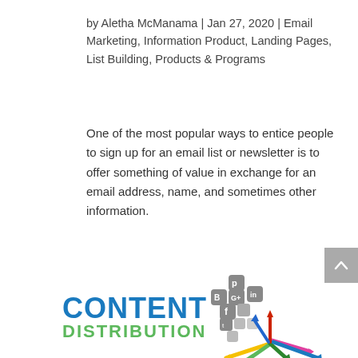by Aletha McManama | Jan 27, 2020 | Email Marketing, Information Product, Landing Pages, List Building, Products & Programs
One of the most popular ways to entice people to sign up for an email list or newsletter is to offer something of value in exchange for an email address, name, and sometimes other information.
[Figure (illustration): Content Distribution graphic with blue bold text 'CONTENT' and green text 'DISTRIBUTION' on the left, and a social media icons cluster (Pinterest, Blogger, Google+, LinkedIn, Facebook, Twitter, etc.) above colorful arrows radiating outward on the right.]